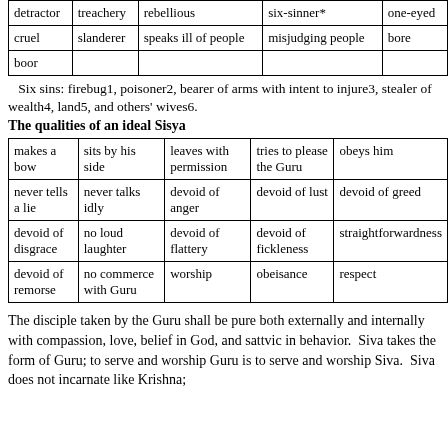| detractor | treachery | rebellious | six-sinner* | one-eyed |
| cruel | slanderer | speaks ill of people | misjudging people | bore |
| boor |  |  |  |  |
Six sins: firebug1, poisoner2, bearer of arms with intent to injure3, stealer of wealth4, land5, and others' wives6.
The qualities of an ideal Sisya
| makes a bow | sits by his side | leaves with permission | tries to please the Guru | obeys him |
| never tells a lie | never talks idly | devoid of anger | devoid of lust | devoid of greed |
| devoid of disgrace | no loud laughter | devoid of flattery | devoid of fickleness | straightforwardness |
| devoid of remorse | no commerce with Guru | worship | obeisance | respect |
The disciple taken by the Guru shall be pure both externally and internally with compassion, love, belief in God, and sattvic in behavior.  Siva takes the form of Guru; to serve and worship Guru is to serve and worship Siva.  Siva does not incarnate like Krishna; he is always an instrument invisible to the eye, but always there.